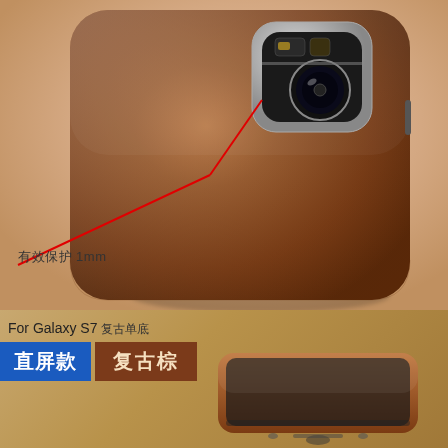[Figure (photo): Close-up product photo of a brown leather phone case for Samsung Galaxy S7, showing the back with camera cutout and chrome ring. Two red annotation lines point to the camera area. The leather texture is visible on a peach/salmon background.]
有效保护 1mm
[Figure (photo): Bottom section with tan/brown background showing product variant labels and a partial photo of the phone case bottom edge. Labels indicate 'For Galaxy S7 复古单底', '直屏款' in blue badge, '复古棕' in dark brown badge.]
For Galaxy S7 复古单底
直屏款
复古棕